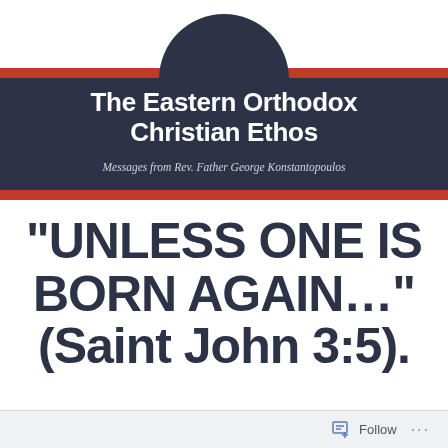[Figure (illustration): Dark navy circular logo/badge overlapping a dark navy horizontal banner with red accent bars above and below. The circle sits centered above the banner and overlaps it.]
The Eastern Orthodox Christian Ethos
Messages from Rev. Father George Konstantopoulos
“UNLESS ONE IS BORN AGAIN…” (Saint John 3:5).
Follow ...